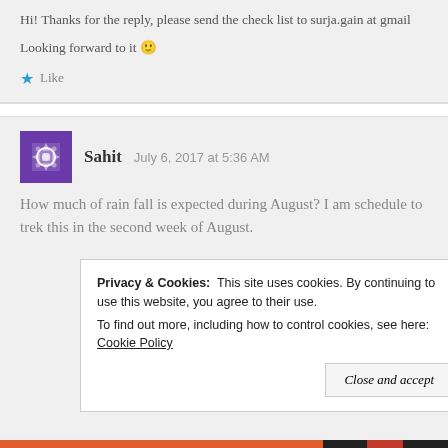Hi! Thanks for the reply, please send the check list to surja.gain at gmail
Looking forward to it 🙂
Like
Sahit   July 6, 2017 at 5:36 AM
How much of rain fall is expected during August? I am schedule to trek this in the second week of August.
Privacy & Cookies:  This site uses cookies. By continuing to use this website, you agree to their use.
To find out more, including how to control cookies, see here: Cookie Policy
Close and accept